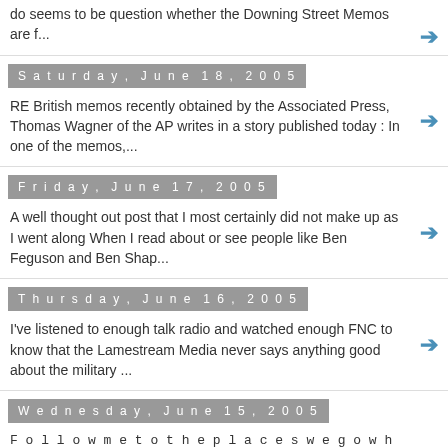do seems to be question whether the  Downing Street Memos are f...
Saturday, June 18, 2005
RE British memos recently obtained by the Associated Press, Thomas Wagner of the AP writes in a story published today : In one of the memos,...
Friday, June 17, 2005
A well thought out post that I most certainly did not make up as I went along When I read about or see people like Ben Feguson and Ben Shap...
Thursday, June 16, 2005
I've listened to enough talk radio and watched enough FNC to know that the Lamestream Media never says anything good about the military ...
Wednesday, June 15, 2005
F o l l o w m e t o t h e p l a c e s w e g o w h e n w e t r a v e l w i t h , o r t o , t h e s e l i n k s .